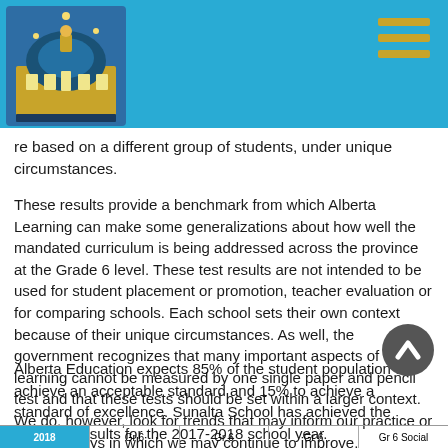[Sunalta School logo and navigation header]
re based on a different group of students, under unique circumstances.
These results provide a benchmark from which Alberta Learning can make some generalizations about how well the mandated curriculum is being addressed across the province at the Grade 6 level. These test results are not intended to be used for student placement or promotion, teacher evaluation or for comparing schools. Each school sets their own context because of their unique circumstances. As well, the government recognizes that many important aspects of learning cannot be measured by one single paper and pencil test and that these tests should be set within a larger context. We do, however, look for trends that may inform our practice or suggest ways in which we may continue to improve.
Alberta Education expects 85% of the student population to achieve an acceptable standard and 15% to achieve a standard of excellence. Sunalta School has achieved the following results for the 2017-2018 school year.
| 2018 | Gr 6 | Gr 6 | Gr 6 | Gr 6 Social |
| --- | --- | --- | --- | --- |